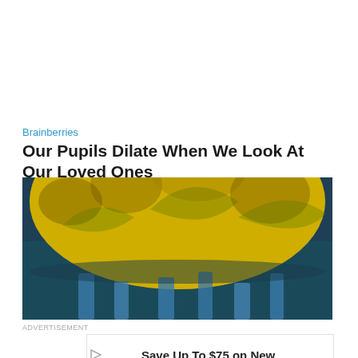Brainberries
Our Pupils Dilate When We Look At Our Loved Ones
[Figure (photo): Close-up artistic/digital image showing a large golden/yellow circular mass with textured leaf-like patterns over a blue background, resembling a stylized eye or nature image.]
ADVERTISEMENT
Save Up To $75 on New Tires
Virginia Tire & Auto of Ashburn ...